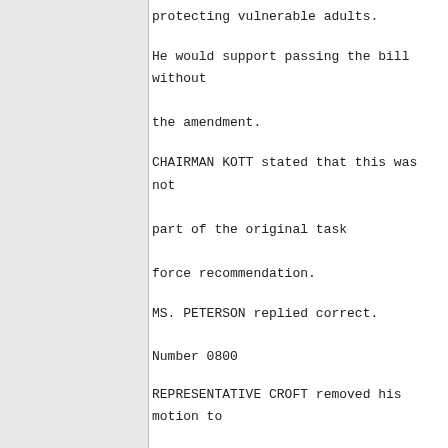protecting vulnerable adults.
He would support passing the bill without the amendment.
CHAIRMAN KOTT stated that this was not part of the original task force recommendation.
MS. PETERSON replied correct.
Number 0800
REPRESENTATIVE CROFT removed his motion to adopt Amendment 2. He doesn't want to slow down the bill.
Number 0824